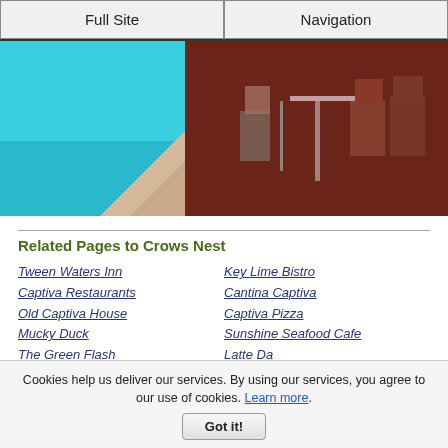Full Site | Navigation
[Figure (photo): Split image showing a swimming pool on the left with blue water and tiled edge, and an outdoor restaurant patio on the right with chairs and tables on dark red stamped concrete.]
Related Pages to Crows Nest
Tween Waters Inn
Captiva Restaurants
Old Captiva House
Mucky Duck
The Green Flash
Bubble Room
RC Otters
South Seas Captiva Dining
Key Lime Bistro
Cantina Captiva
Captiva Pizza
Sunshine Seafood Cafe
Latte Da
Harbourside Bar and Grill
Captiva Hotels
Cape Coral Restaurants
Cookies help us deliver our services. By using our services, you agree to our use of cookies. Learn more.